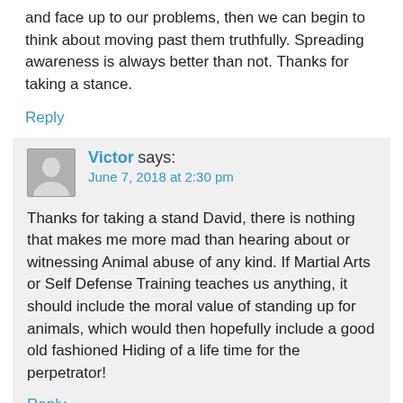and face up to our problems, then we can begin to think about moving past them truthfully. Spreading awareness is always better than not. Thanks for taking a stance.
Reply
Victor says:
June 7, 2018 at 2:30 pm
Thanks for taking a stand David, there is nothing that makes me more mad than hearing about or witnessing Animal abuse of any kind. If Martial Arts or Self Defense Training teaches us anything, it should include the moral value of standing up for animals, which would then hopefully include a good old fashioned Hiding of a life time for the perpetrator!
Reply
Leave a Reply to CC2992 Cancel reply
Your email address will not be published. Required